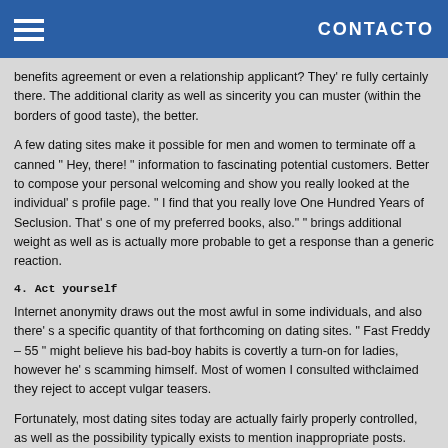CONTACTO
benefits agreement or even a relationship applicant? They' re fully certainly there. The additional clarity as well as sincerity you can muster (within the borders of good taste), the better.
A few dating sites make it possible for men and women to terminate off a canned " Hey, there! " information to fascinating potential customers. Better to compose your personal welcoming and show you really looked at the individual' s profile page. " I find that you really love One Hundred Years of Seclusion. That' s one of my preferred books, also." " brings additional weight as well as is actually more probable to get a response than a generic reaction.
4. Act yourself
Internet anonymity draws out the most awful in some individuals, and also there' s a specific quantity of that forthcoming on dating sites. " Fast Freddy – 55 " might believe his bad-boy habits is covertly a turn-on for ladies, however he' s scamming himself. Most of women I consulted withclaimed they reject to accept vulgar teasers.
Fortunately, most dating sites today are actually fairly properly controlled, as well as the possibility typically exists to mention inappropriate posts.